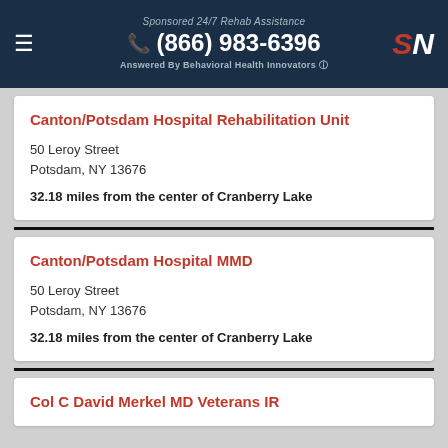Sponsored 24/7 Rehab Assistance (866) 983-6396 Answered By Behavioral Health Innovators SN
Canton/Potsdam Hospital Rehabilitation Unit
50 Leroy Street
Potsdam, NY 13676
32.18 miles from the center of Cranberry Lake
Canton/Potsdam Hospital MMD
50 Leroy Street
Potsdam, NY 13676
32.18 miles from the center of Cranberry Lake
Col C David Merkel MD Veterans IR